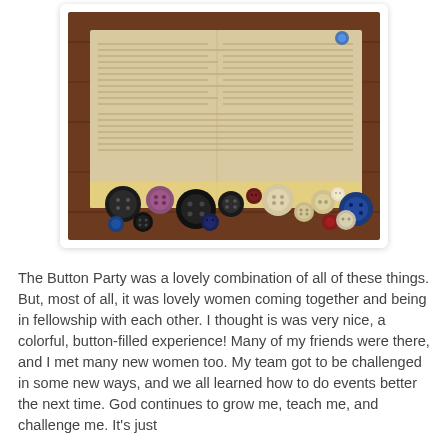[Figure (photo): Photo of an old document/paper with various buttons arranged along the bottom edge, placed on a dark wooden surface. A blue button is pinned at the top right corner of the document.]
The Button Party was a lovely combination of all of these things. But, most of all, it was lovely women coming together and being in fellowship with each other. I thought is was very nice, a colorful, button-filled experience! Many of my friends were there, and I met many new women too. My team got to be challenged in some new ways, and we all learned how to do events better the next time. God continues to grow me, teach me, and challenge me. It's just